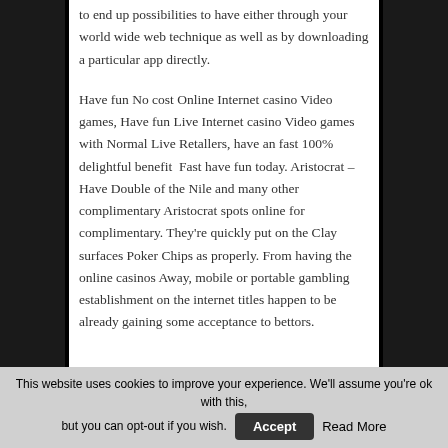to end up possibilities to have either through your world wide web technique as well as by downloading a particular app directly.
Have fun No cost Online Internet casino Video games, Have fun Live Internet casino Video games with Normal Live Retallers, have an fast 100% delightful benefit  Fast have fun today. Aristocrat – Have Double of the Nile and many other complimentary Aristocrat spots online for complimentary. They’re quickly put on the Clay surfaces Poker Chips as properly. From having the online casinos Away, mobile or portable gambling establishment on the internet titles happen to be already gaining some acceptance to bettors.
This website uses cookies to improve your experience. We'll assume you're ok with this, but you can opt-out if you wish.  Accept  Read More